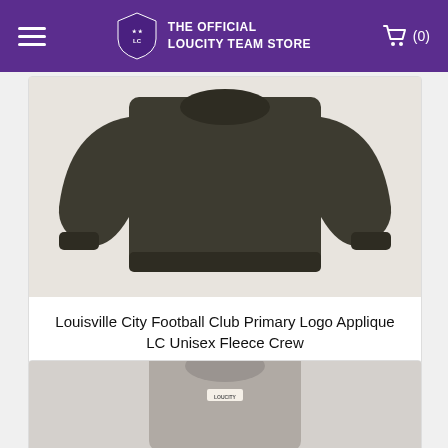THE OFFICIAL LOUCITY TEAM STORE
[Figure (photo): Dark olive/charcoal crewneck fleece sweatshirt with long sleeves displayed flat on white background]
Louisville City Football Club Primary Logo Applique LC Unisex Fleece Crew
$59.95
CHOOSE OPTIONS
[Figure (photo): Gray crewneck sweatshirt with LOUCITY label visible at collar, partially visible at bottom of page]